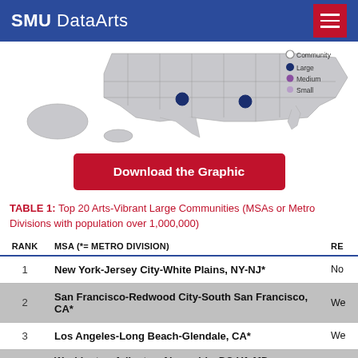SMU DataArts
[Figure (map): Partial US map showing dots for arts-vibrant communities by size (Large, Medium, Small). Visible dots include one in Texas area and one in Gulf Coast area. Legend shows Community (empty circle), Large (dark blue), Medium (purple), Small (light purple).]
Download the Graphic
TABLE 1: Top 20 Arts-Vibrant Large Communities (MSAs or Metro Divisions with population over 1,000,000)
| RANK | MSA (*= METRO DIVISION) | RE |
| --- | --- | --- |
| 1 | New York-Jersey City-White Plains, NY-NJ* | No |
| 2 | San Francisco-Redwood City-South San Francisco, CA* | We |
| 3 | Los Angeles-Long Beach-Glendale, CA* | We |
| 4 | Washington-Arlington-Alexandria, DC-VA-MD-... |  |